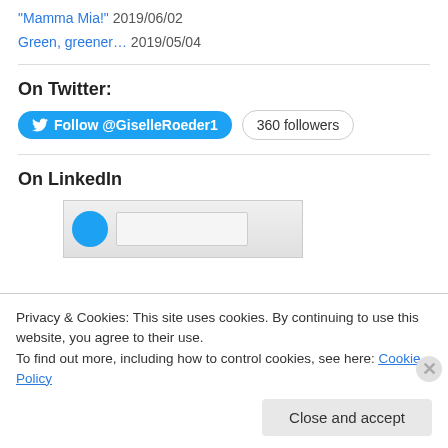"Mamma Mia!" 2019/06/02
Green, greener… 2019/05/04
On Twitter:
Follow @GiselleRoeder1  360 followers
On LinkedIn
[Figure (screenshot): LinkedIn widget showing profile with avatar and text block]
Privacy & Cookies: This site uses cookies. By continuing to use this website, you agree to their use. To find out more, including how to control cookies, see here: Cookie Policy
Close and accept